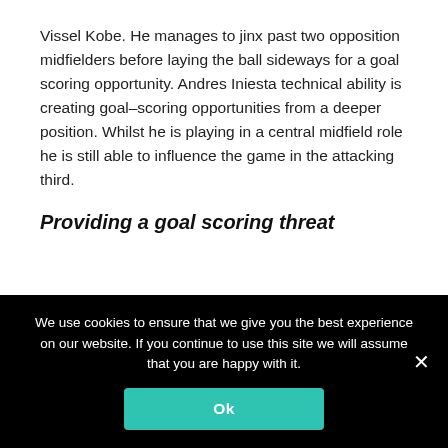Vissel Kobe. He manages to jinx past two opposition midfielders before laying the ball sideways for a goal scoring opportunity. Andres Iniesta technical ability is creating goal-scoring opportunities from a deeper position. Whilst he is playing in a central midfield role he is still able to influence the game in the attacking third.
Providing a goal scoring threat
Andres Iniesta has also added another goal-scoring dimension to Vissel Kobe. A player
We use cookies to ensure that we give you the best experience on our website. If you continue to use this site we will assume that you are happy with it.